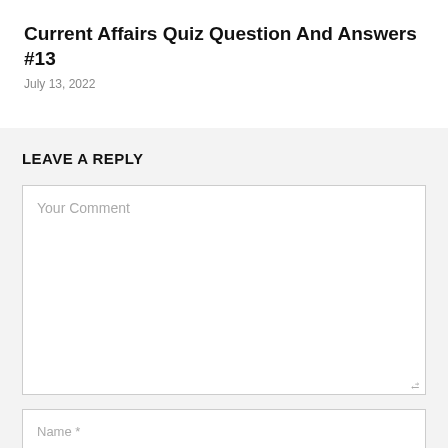Current Affairs Quiz Question And Answers #13
July 13, 2022
LEAVE A REPLY
Your Comment
Name *